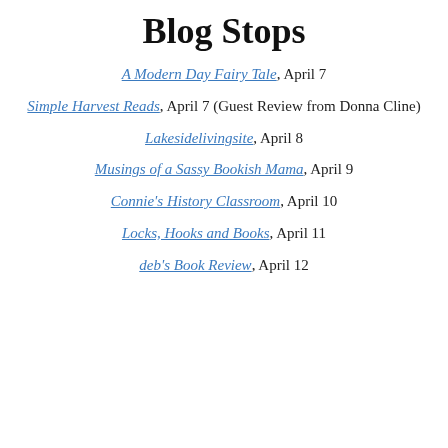Blog Stops
A Modern Day Fairy Tale, April 7
Simple Harvest Reads, April 7 (Guest Review from Donna Cline)
Lakesidelivingsite, April 8
Musings of a Sassy Bookish Mama, April 9
Connie's History Classroom, April 10
Locks, Hooks and Books, April 11
deb's Book Review, April 12